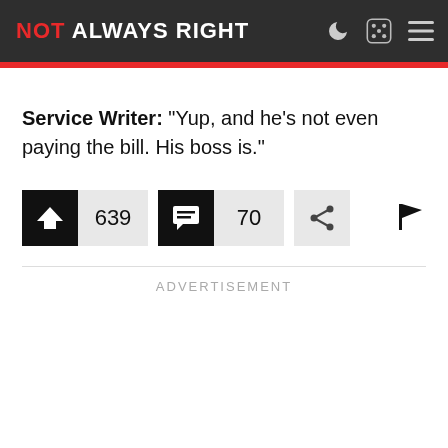NOT ALWAYS RIGHT
Service Writer: “Yup, and he’s not even paying the bill. His boss is.”
[Figure (screenshot): Upvote button (black arrow up icon) with count 639, comment button (black comment icon) with count 70, share button (grey share icon), and flag icon on the right.]
ADVERTISEMENT